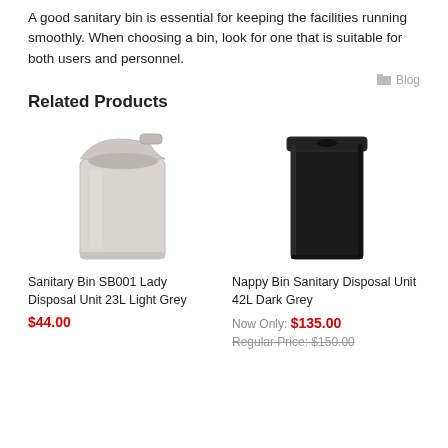A good sanitary bin is essential for keeping the facilities running smoothly. When choosing a bin, look for one that is suitable for both users and personnel.
Blog
Related Products
[Figure (photo): Sanitary Bin SB001 Lady Disposal Unit 23L Light Grey - a light grey plastic bin with an open top/lid]
Sanitary Bin SB001 Lady Disposal Unit 23L Light Grey
$44.00
[Figure (photo): Nappy Bin Sanitary Disposal Unit 42L Dark Grey - a tall black/dark grey rectangular bin with a lid]
Nappy Bin Sanitary Disposal Unit 42L Dark Grey
Now Only: $135.00
Regular Price: $150.00